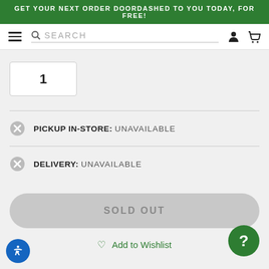GET YOUR NEXT ORDER DOORDASHED TO YOU TODAY, FOR FREE!
[Figure (screenshot): Navigation bar with hamburger menu, search box, user icon, and cart icon]
1
PICKUP IN-STORE: UNAVAILABLE
DELIVERY: UNAVAILABLE
SOLD OUT
Add to Wishlist